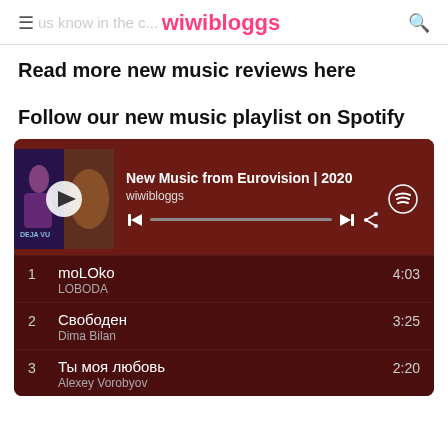wiwibloggs
Read more new music reviews here
Follow our new music playlist on Spotify
[Figure (screenshot): Spotify playlist widget showing 'New Music from Eurovision | 2020' by wiwibloggs with album art, playback controls, and a track list showing: 1. moLOko by LOBODA (4:03), 2. Свободен by Dima Bilan (3:25), 3. Ты моя любовь by Alexey Vorobyov (2:20)]